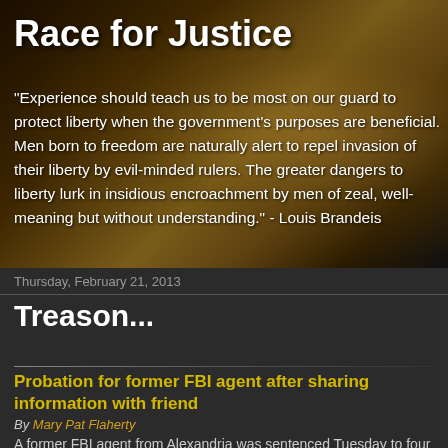[Figure (photo): Dark parchment/historical document background with golden-brown tones, handwritten text visible]
Race for Justice
"Experience should teach us to be most on our guard to protect liberty when the government's purposes are beneficial. Men born to freedom are naturally alert to repel invasion of their liberty by evil-minded rulers. The greater dangers to liberty lurk in insidious encroachment by men of zeal, well-meaning but without understanding." - Louis Brandeis
Thursday, February 21, 2013
Treason...
Probation for former FBI agent after sharing information with friend
By Mary Pat Flaherty
A former FBI agent from Alexandria was sentenced Tuesday to four years of probation for his part in acquiring confidential information whi...